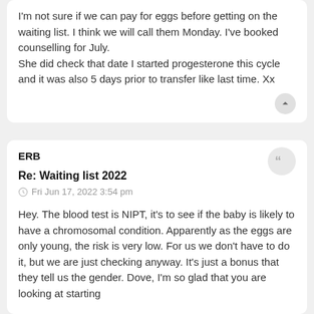I'm not sure if we can pay for eggs before getting on the waiting list. I think we will call them Monday. I've booked counselling for July.
She did check that date I started progesterone this cycle and it was also 5 days prior to transfer like last time. Xx
ERB
Re: Waiting list 2022
Fri Jun 17, 2022 3:54 pm
Hey. The blood test is NIPT, it's to see if the baby is likely to have a chromosomal condition. Apparently as the eggs are only young, the risk is very low. For us we don't have to do it, but we are just checking anyway. It's just a bonus that they tell us the gender. Dove, I'm so glad that you are looking at starting